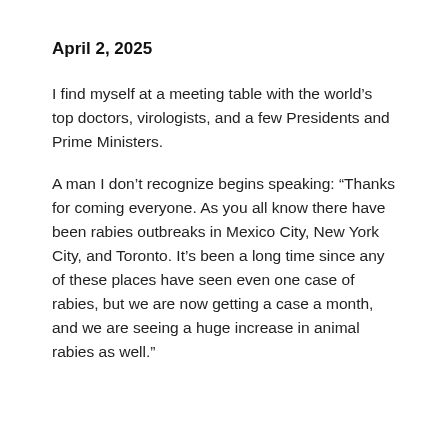April 2, 2025
I find myself at a meeting table with the world’s top doctors, virologists, and a few Presidents and Prime Ministers.
A man I don’t recognize begins speaking: “Thanks for coming everyone. As you all know there have been rabies outbreaks in Mexico City, New York City, and Toronto. It’s been a long time since any of these places have seen even one case of rabies, but we are now getting a case a month, and we are seeing a huge increase in animal rabies as well.”